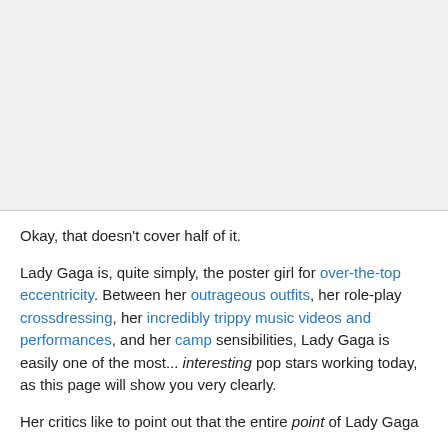[Figure (other): Placeholder image area with light gray background]
Okay, that doesn't cover half of it.
Lady Gaga is, quite simply, the poster girl for over-the-top eccentricity. Between her outrageous outfits, her role-play crossdressing, her incredibly trippy music videos and performances, and her camp sensibilities, Lady Gaga is easily one of the most... interesting pop stars working today, as this page will show you very clearly.
Her critics like to point out that the entire point of Lady Gaga